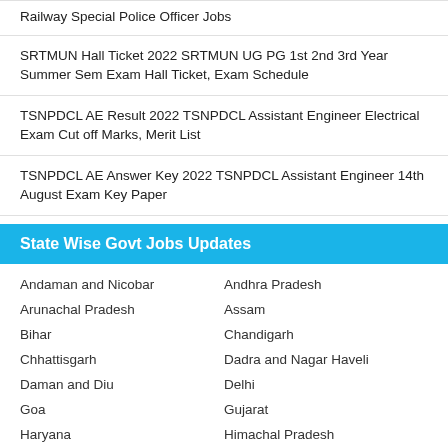Railway Special Police Officer Jobs
SRTMUN Hall Ticket 2022 SRTMUN UG PG 1st 2nd 3rd Year Summer Sem Exam Hall Ticket, Exam Schedule
TSNPDCL AE Result 2022 TSNPDCL Assistant Engineer Electrical Exam Cut off Marks, Merit List
TSNPDCL AE Answer Key 2022 TSNPDCL Assistant Engineer 14th August Exam Key Paper
State Wise Govt Jobs Updates
Andaman and Nicobar
Andhra Pradesh
Arunachal Pradesh
Assam
Bihar
Chandigarh
Chhattisgarh
Dadra and Nagar Haveli
Daman and Diu
Delhi
Goa
Gujarat
Haryana
Himachal Pradesh
Jammu and Kashmir
Jharkhand
Karnataka
Kerala